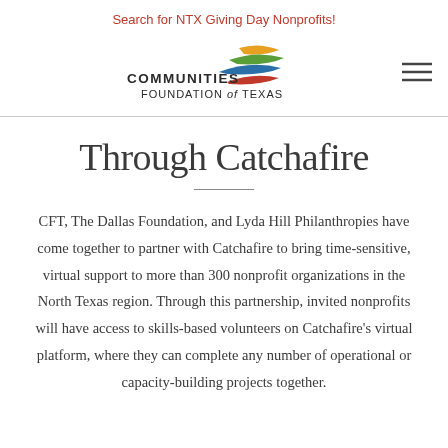Search for NTX Giving Day Nonprofits!
[Figure (logo): Communities Foundation of Texas logo with colorful wave/bird graphic and text 'COMMUNITIES FOUNDATION of TEXAS']
Through Catchafire
CFT, The Dallas Foundation, and Lyda Hill Philanthropies have come together to partner with Catchafire to bring time-sensitive, virtual support to more than 300 nonprofit organizations in the North Texas region. Through this partnership, invited nonprofits will have access to skills-based volunteers on Catchafire's virtual platform, where they can complete any number of operational or capacity-building projects together.